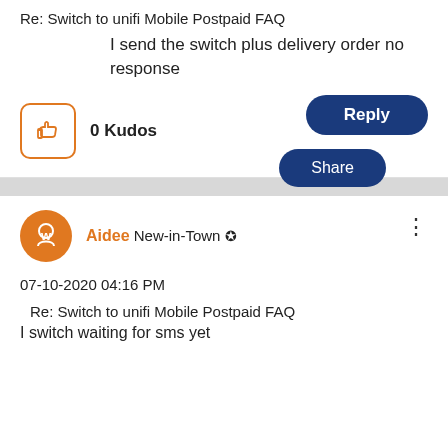Re: Switch to unifi Mobile Postpaid FAQ
I send the switch plus delivery order no response
0 Kudos
Reply
Share
Aidee New-in-Town
07-10-2020 04:16 PM
Re: Switch to unifi Mobile Postpaid FAQ
I switch waiting for sms yet